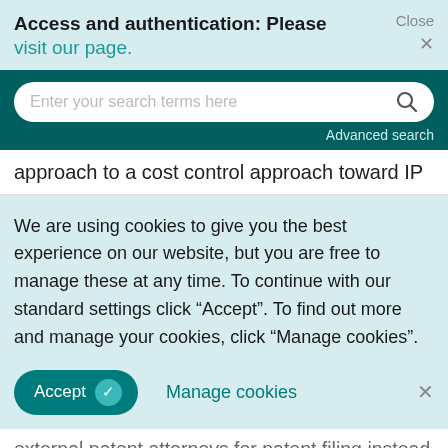Access and authentication: Please visit our page.
[Figure (screenshot): Search bar with placeholder text 'Enter your search terms here' and a magnifying glass icon, on a teal background with 'Advanced search' link]
approach to a cost control approach toward IP
We are using cookies to give you the best experience on our website, but you are free to manage these at any time. To continue with our standard settings click "Accept". To find out more and manage your cookies, click "Manage cookies".
Accept   Manage cookies   ×
external patent attorneys for patent filing instead of on internal experience and the effect that this